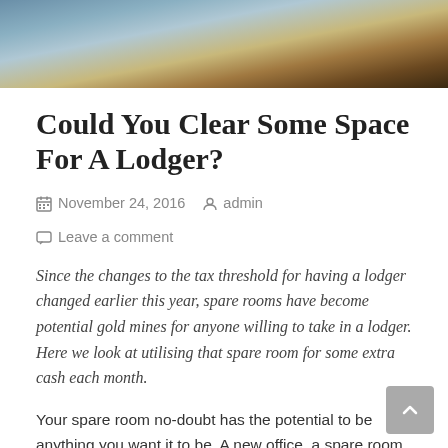[Figure (photo): Photo of cushions and fabric in blue, beige and brown tones]
Could You Clear Some Space For A Lodger?
November 24, 2016  admin  Leave a comment
Since the changes to the tax threshold for having a lodger changed earlier this year, spare rooms have become potential gold mines for anyone willing to take in a lodger. Here we look at utilising that spare room for some extra cash each month.
Your spare room no-doubt has the potential to be anything you want it to be. A new office, a spare room for when friends and family come to stay, your own private gym, a music room, even your very own yoga studio. But what if your spare room could offer you